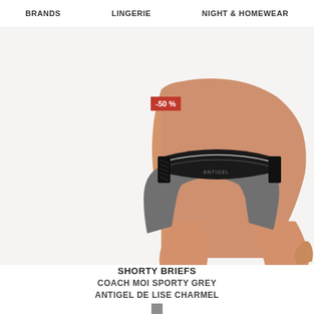BRANDS   LINGERIE   NIGHT & HOMEWEAR
[Figure (photo): Product photo of a woman wearing grey sporty briefs with black lace trim waistband. A red discount badge shows -50% overlaid on the image.]
SHORTY BRIEFS
COACH MOI SPORTY GREY
ANTIGEL DE LISE CHARMEL
27,70 € TTC   13,85 € TTC